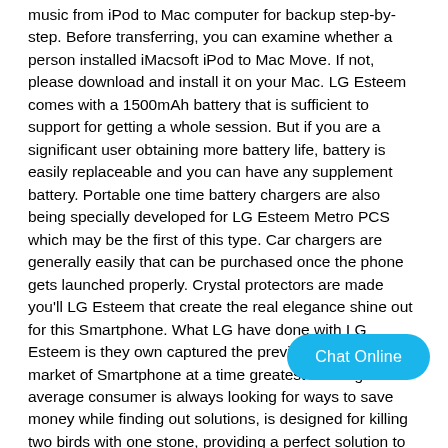music from iPod to Mac computer for backup step-by-step. Before transferring, you can examine whether a person installed iMacsoft iPod to Mac Move. If not, please download and install it on your Mac. LG Esteem comes with a 1500mAh battery that is sufficient to support for getting a whole session. But if you are a significant user obtaining more battery life, battery is easily replaceable and you can have any supplement battery. Portable one time battery chargers are also being specially developed for LG Esteem Metro PCS which may be the first of this type. Car chargers are generally easily that can be purchased once the phone gets launched properly. Crystal protectors are made you'll LG Esteem that create the real elegance shine out for this Smartphone. What LG have done with LG Esteem is they own captured the previously unoccupied market of Smartphone at a time greatest clothing. The average consumer is always looking for ways to save money while finding out solutions, is designed for killing two birds with one stone, providing a perfect solution to Type C us... Do you want data cable manufacturer Type C usb cable? We also
[Figure (other): Chat Online button overlay - a rounded pill-shaped button with cyan/blue background and white text reading 'Chat Online']